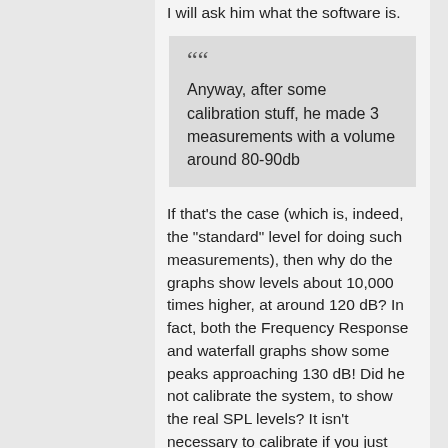I will ask him what the software is.
Anyway, after some calibration stuff, he made 3 measurements with a volume around 80-90db
If that's the case (which is, indeed, the "standard" level for doing such measurements), then why do the graphs show levels about 10,000 times higher, at around 120 dB? In fact, both the Frequency Response and waterfall graphs show some peaks approaching 130 dB! Did he not calibrate the system, to show the real SPL levels? It isn't necessary to calibrate if you just want to compare relative levels, true, but for looking at absolute levels it is necessary...
he made 3 measurements front of the room. mix position and rear of the room.